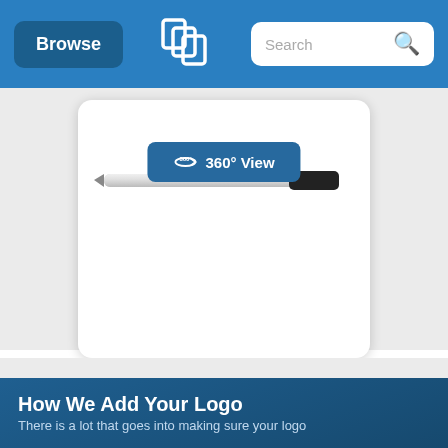Browse | [Logo] | Search
[Figure (screenshot): Product image card with a 360° View button overlay showing a pen/stylus product]
Call for a free quote!
866-312-5646
How We Add Your Logo
There is a lot that goes into making sure your logo